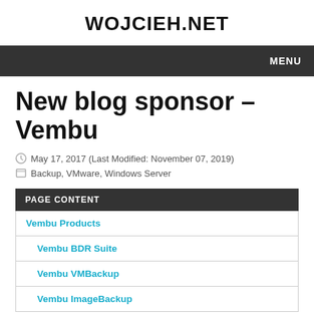WOJCIEH.NET
MENU
New blog sponsor – Vembu
May 17, 2017 (Last Modified: November 07, 2019)
Backup, VMware, Windows Server
PAGE CONTENT
Vembu Products
Vembu BDR Suite
Vembu VMBackup
Vembu ImageBackup